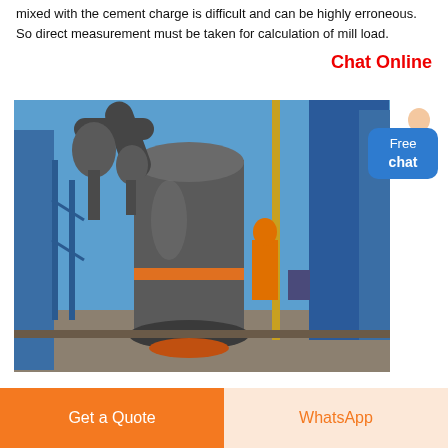mixed with the cement charge is difficult and can be highly erroneous. So direct measurement must be taken for calculation of mill load.
Chat Online
[Figure (photo): Industrial cement mill or grinding plant showing large vertical grinding machinery with cylindrical components, pipes, and blue steel structures against a blue sky.]
[Figure (infographic): Free chat button: blue rounded rectangle with text 'Free chat' and a customer service avatar above it.]
Get a Quote
WhatsApp